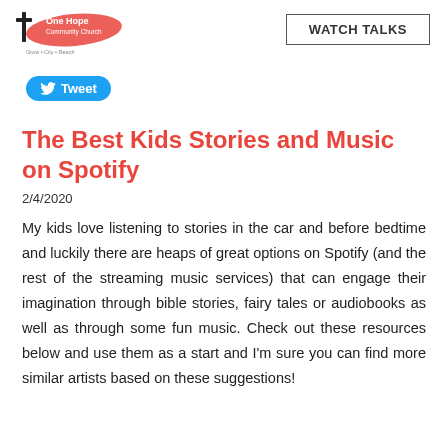[Figure (logo): One Hope Community Church logo with cross and red brushstroke]
[Figure (other): WATCH TALKS button/link in a rectangular border]
[Figure (other): Blue Twitter Tweet button]
The Best Kids Stories and Music on Spotify
2/4/2020
My kids love listening to stories in the car and before bedtime and luckily there are heaps of great options on Spotify (and the rest of the streaming music services) that can engage their imagination through bible stories, fairy tales or audiobooks as well as through some fun music. Check out these resources below and use them as a start and I'm sure you can find more similar artists based on these suggestions!